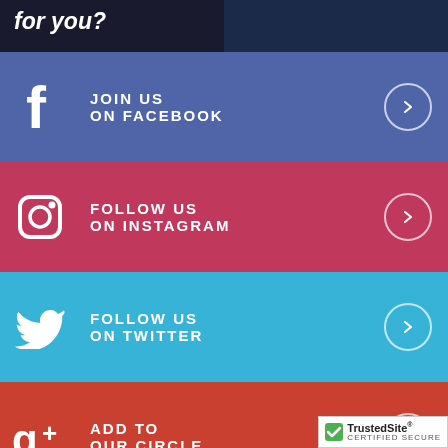for you?
[Figure (infographic): Social media join/follow buttons: Facebook (JOIN US ON FACEBOOK), Instagram (FOLLOW US ON INSTAGRAM), Twitter (FOLLOW US ON TWITTER), Google+ (ADD TO OUR CIRCLE)]
[Figure (logo): TrustedSite CERTIFIED SECURE badge]